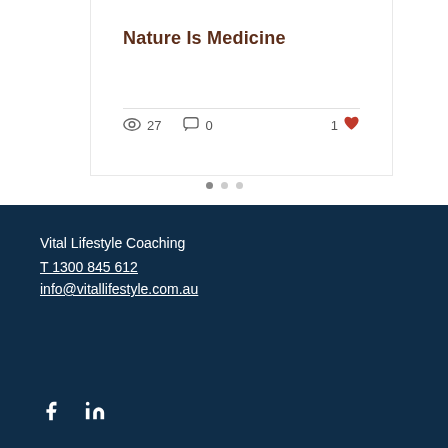Nature Is Medicine
27 views · 0 comments · 1 like
Vital Lifestyle Coaching
T 1300 845 612
info@vitallifestyle.com.au
[Figure (other): Facebook and LinkedIn social media icons in white on dark navy background]